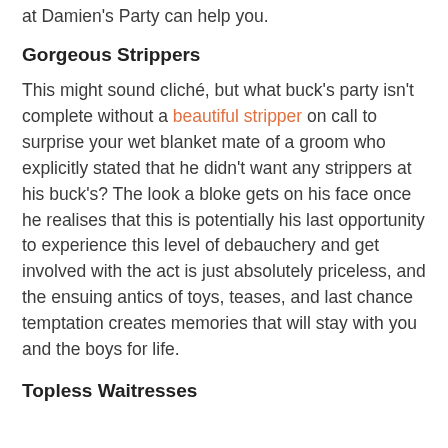at Damien's Party can help you.
Gorgeous Strippers
This might sound cliché, but what buck's party isn't complete without a beautiful stripper on call to surprise your wet blanket mate of a groom who explicitly stated that he didn't want any strippers at his buck's? The look a bloke gets on his face once he realises that this is potentially his last opportunity to experience this level of debauchery and get involved with the act is just absolutely priceless, and the ensuing antics of toys, teases, and last chance temptation creates memories that will stay with you and the boys for life.
Topless Waitresses